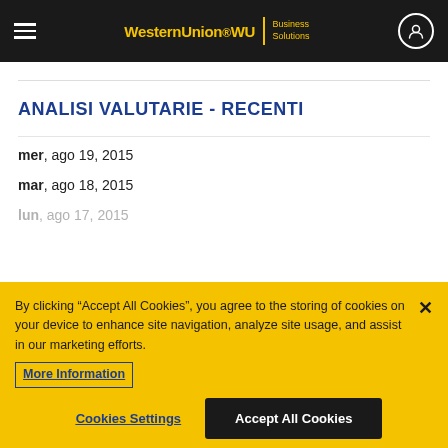WesternUnion WU Business Solutions
ANALISI VALUTARIE - RECENTI
mer, ago 19, 2015
mar, ago 18, 2015
By clicking “Accept All Cookies”, you agree to the storing of cookies on your device to enhance site navigation, analyze site usage, and assist in our marketing efforts. More Information
Cookies Settings | Accept All Cookies